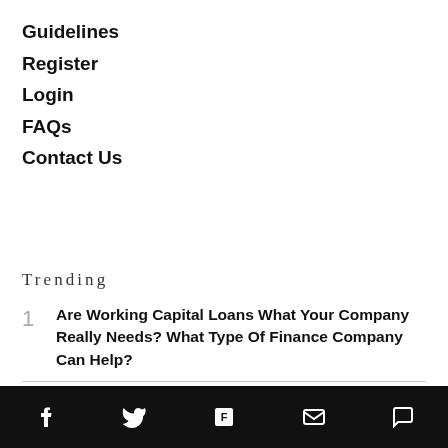Guidelines
Register
Login
FAQs
Contact Us
Trending
1  Are Working Capital Loans What Your Company Really Needs? What Type Of Finance Company Can Help?
5 Ways Missing Calls Can Negatively Impact Your